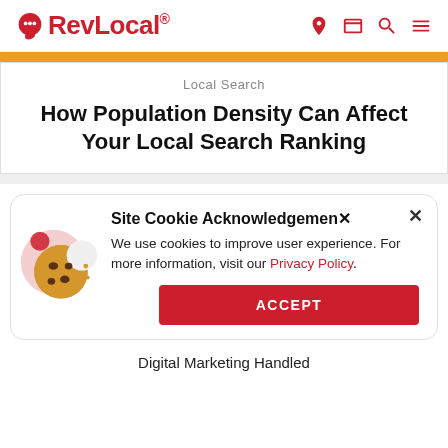RevLocal® [navigation icons: location, card, search, menu]
Local Search
How Population Density Can Affect Your Local Search Ranking
Site Cookie Acknowledgement
We use cookies to improve user experience. For more information, visit our Privacy Policy.
ACCEPT
Digital Marketing Handled